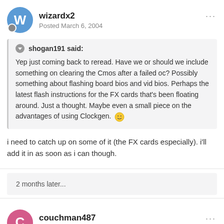wizardx2 — Posted March 6, 2004
shogan191 said: Yep just coming back to reread. Have we or should we include something on clearing the Cmos after a failed oc? Possibly something about flashing board bios and vid bios. Perhaps the latest flash instructions for the FX cards that's been floating around. Just a thought. Maybe even a small piece on the advantages of using Clockgen.
i need to catch up on some of it (the FX cards especially). i'll add it in as soon as i can though.
2 months later...
couchman487 — Posted May 24, 2004